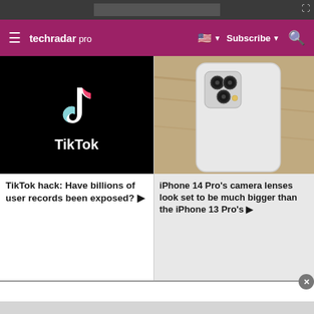techradar pro — Subscribe
[Figure (screenshot): TikTok logo on black background with white TikTok text]
TikTok hack: Have billions of user records been exposed? ▶
[Figure (photo): White iPhone 14 Pro showing triple camera lenses on wooden surface]
iPhone 14 Pro's camera lenses look set to be much bigger than the iPhone 13 Pro's ▶